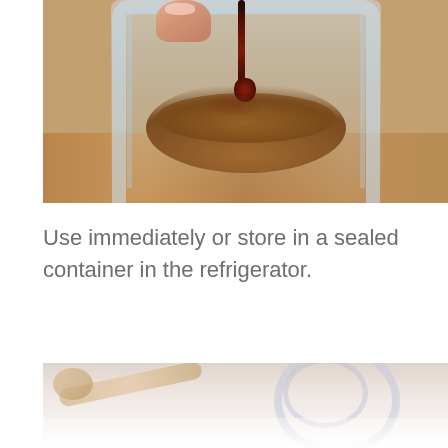[Figure (photo): Close-up photo of a hand pouring a dark liquid (vanilla extract or similar) into a glass jar containing brown powder (cocoa or similar dry ingredients), set on a wooden surface. The jar is clear/glass with visible layers of powder inside.]
Use immediately or store in a sealed container in the refrigerator.
[Figure (photo): Close-up photo of glass jars and a wooden spoon with a light-colored mixture or powder, set on a light/white surface. Partially cropped at the bottom.]